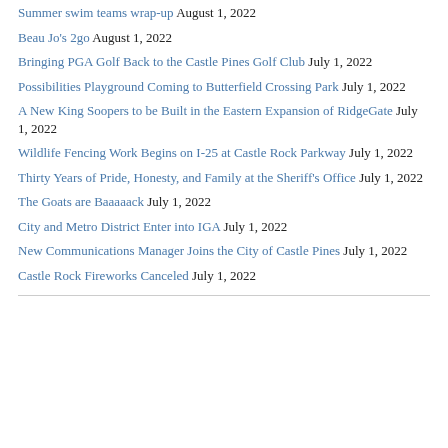Summer swim teams wrap-up August 1, 2022
Beau Jo's 2go August 1, 2022
Bringing PGA Golf Back to the Castle Pines Golf Club July 1, 2022
Possibilities Playground Coming to Butterfield Crossing Park July 1, 2022
A New King Soopers to be Built in the Eastern Expansion of RidgeGate July 1, 2022
Wildlife Fencing Work Begins on I-25 at Castle Rock Parkway July 1, 2022
Thirty Years of Pride, Honesty, and Family at the Sheriff's Office July 1, 2022
The Goats are Baaaaack July 1, 2022
City and Metro District Enter into IGA July 1, 2022
New Communications Manager Joins the City of Castle Pines July 1, 2022
Castle Rock Fireworks Canceled July 1, 2022